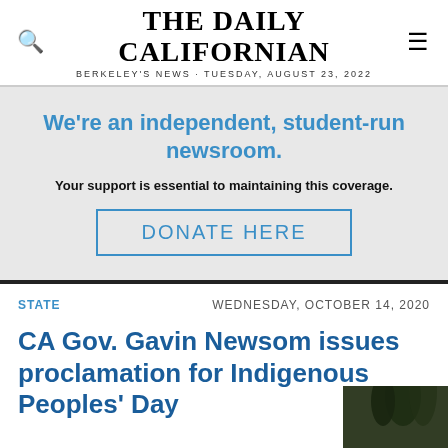THE DAILY CALIFORNIAN · BERKELEY'S NEWS · TUESDAY, AUGUST 23, 2022
We're an independent, student-run newsroom. Your support is essential to maintaining this coverage. DONATE HERE
STATE   WEDNESDAY, OCTOBER 14, 2020
CA Gov. Gavin Newsom issues proclamation for Indigenous Peoples' Day